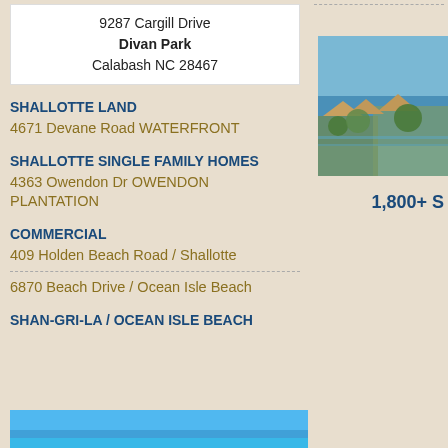9287 Cargill Drive
Divan Park
Calabash NC 28467
SHALLOTTE LAND
4671 Devane Road WATERFRONT
SHALLOTTE SINGLE FAMILY HOMES
4363 Owendon Dr OWENDON PLANTATION
COMMERCIAL
409 Holden Beach Road / Shallotte
6870 Beach Drive / Ocean Isle Beach
SHAN-GRI-LA / OCEAN ISLE BEACH
[Figure (photo): Aerial photo of coastal/waterfront properties with houses and water visible]
1,800+ S
[Figure (photo): Bottom strip showing blue sky/water scene]